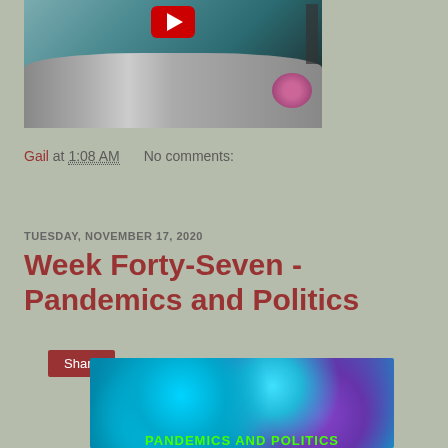[Figure (photo): YouTube video thumbnail showing a woman sitting in front of a desk with a lamp and decor, with a red YouTube play button visible at the top]
Gail at 1:08 AM    No comments:
Share
TUESDAY, NOVEMBER 17, 2020
Week Forty-Seven - Pandemics and Politics
[Figure (photo): Bokeh-style image with blue and purple circles of light, with green text reading 'PANDEMICS AND POLITICS' at the bottom]